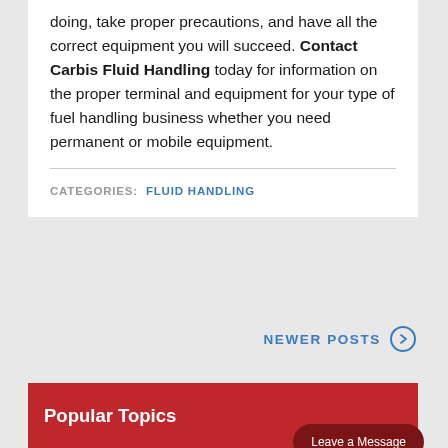doing, take proper precautions, and have all the correct equipment you will succeed. Contact Carbis Fluid Handling today for information on the proper terminal and equipment for your type of fuel handling business whether you need permanent or mobile equipment.
CATEGORIES: FLUID HANDLING
NEWER POSTS
Popular Topics
Leave a Message